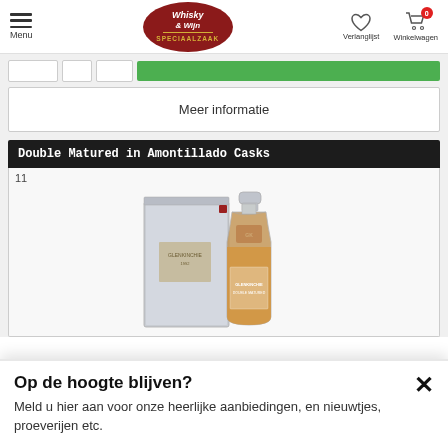Menu | Whisky & Wijn Speciaalzaak | Verlanglijst | Winkelwagen 0
Meer informatie
Double Matured in Amontillado Casks
11
[Figure (photo): Whisky bottle (Glenkinchie or similar) with grey gift box packaging, amber liquid visible through glass bottle with red label]
Op de hoogte blijven?
Meld u hier aan voor onze heerlijke aanbiedingen, en nieuwtjes, proeverijen etc.